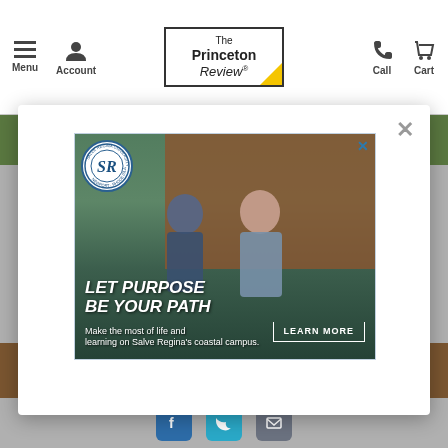The Princeton Review - Menu, Account, Call, Cart
[Figure (screenshot): Princeton Review website with modal popup showing Salve Regina University advertisement. The ad features two students walking on campus with text 'LET PURPOSE BE YOUR PATH' and 'LEARN MORE' button, along with tagline 'Make the most of life and learning on Salve Regina's coastal campus.' The modal has a close X button.]
Social media icons: Facebook, Twitter, Email